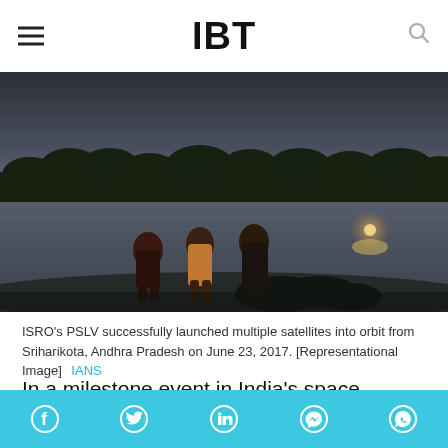IBT
[Figure (photo): Three silhouetted figures standing by a water body at dusk, with trees and a glowing light (possibly rocket launch) in the background.]
ISRO's PSLV successfully launched multiple satellites into orbit from Sriharikota, Andhra Pradesh on June 23, 2017. [Representational Image]  IANS
In a milestone event in India's space history, the Indian Space Research Organisation (ISRO) will launch its 100th satellite on January 12, Friday,
Social share bar: Facebook, Twitter, LinkedIn, Messenger, WhatsApp